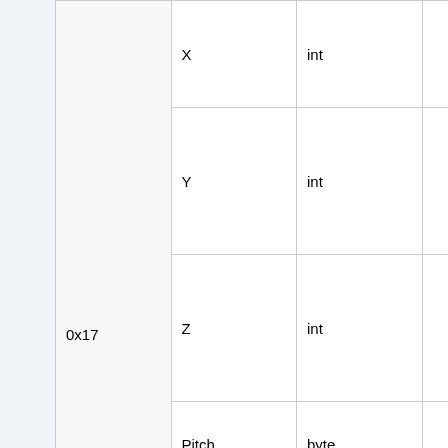|  | Name | Type | Value | Description |
| --- | --- | --- | --- | --- |
|  | X | int | 10080 | Position object |
| 0x17 | Y | int | 2299 | The A Integer Position object |
|  | Z | int | 592 | The A Integer Position object |
|  | Pitch | byte | 67 | The pi steps |
|  | Yaw | byte | 0 | The ya of 2p/ |
|  | Object Data | Object Data |  |  |
| Total Size: | 23 or 29 bytes |  |  |  |